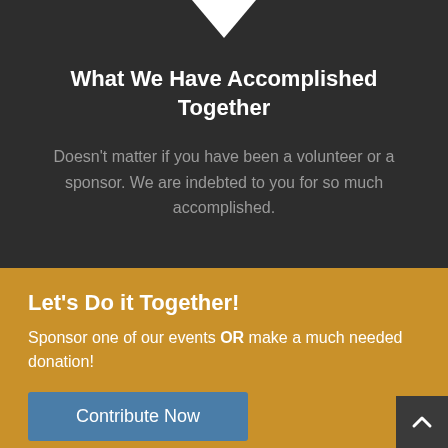What We Have Accomplished Together
Doesn't matter if you have been a volunteer or a sponsor. We are indebted to you for so much accomplished.
Let's Do it Together!
Sponsor one of our events OR make a much needed donation!
Contribute Now